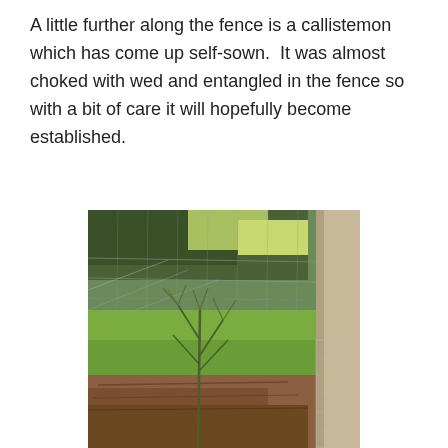A little further along the fence is a callistemon which has come up self-sown.  It was almost choked with wed and entangled in the fence so with a bit of care it will hopefully become established.
[Figure (photo): Photograph of a young callistemon plant growing self-sown near a wire fence, with grass and trees visible in the background and a timber log in the foreground.]